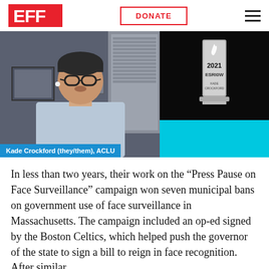EFF | DONATE
[Figure (screenshot): Video screenshot showing Kade Crockford (they/them), ACLU, speaking in a virtual event. Right side shows a 2021 award trophy against black background with a cyan/blue lower panel.]
Kade Crockford (they/them), ACLU
In less than two years, their work on the “Press Pause on Face Surveillance” campaign won seven municipal bans on government use of face surveillance in Massachusetts. The campaign included an op-ed signed by the Boston Celtics, which helped push the governor of the state to sign a bill to reign in face recognition. After similar